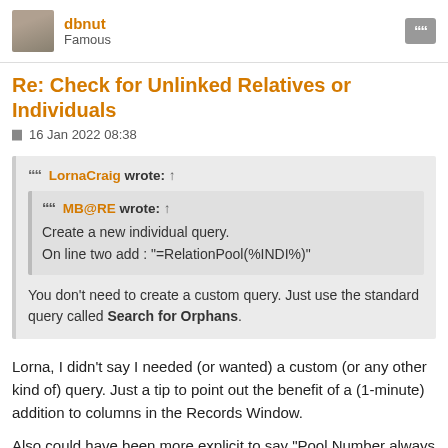dbnut
Famous
Re: Check for Unlinked Relatives or Individuals
16 Jan 2022 08:38
LornaCraig wrote: ↑
MB@RE wrote: ↑
Create a new individual query.
On line two add : "=RelationPool(%INDI%)"
You don't need to create a custom query. Just use the standard query called Search for Orphans.
Lorna, I didn't say I needed (or wanted) a custom (or any other kind of) query. Just a tip to point out the benefit of a (1-minute) addition to columns in the Records Window.
Also could have been more explicit to say "Pool Number always has high visibility" and note that "multi-select can efficiently